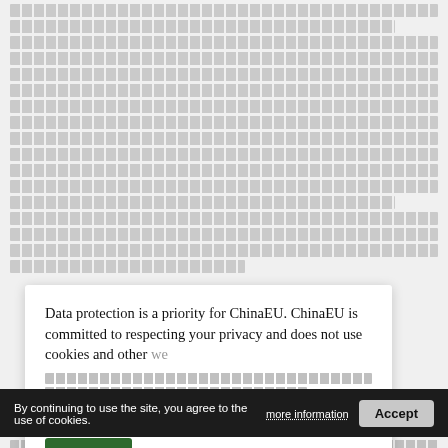[CJK text lines - background article content about 5G telecommunications, GSM, 4G networks and related topics]
Data protection is a priority for ChinaEU. ChinaEU is committed to respecting your privacy and does not use cookies and other web technologies described in the website www.chinaeu.eu.
By continuing to use the site, you agree to the use of cookies.
more information
Accept
Accept All
Read More